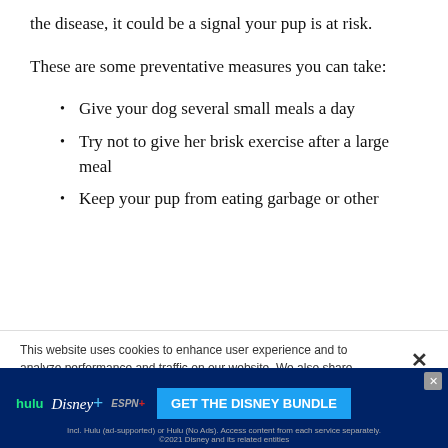the disease, it could be a signal your pup is at risk.
These are some preventative measures you can take:
Give your dog several small meals a day
Try not to give her brisk exercise after a large meal
Keep your pup from eating garbage or other
This website uses cookies to enhance user experience and to analyze performance and traffic on our website. We also share information about your use of our site with our social media, advertising and analytics partners. By accepting cookies, you are also agreeing to accept our site terms and conditions. Terms & Conditions
[Figure (screenshot): Disney Bundle advertisement banner showing Hulu, Disney+, ESPN+ logos and 'GET THE DISNEY BUNDLE' call to action button]